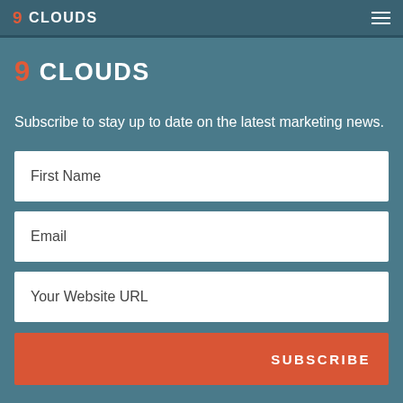9 CLOUDS
[Figure (logo): 9 Clouds logo in white with red 9 numeral]
Subscribe to stay up to date on the latest marketing news.
First Name
Email
Your Website URL
SUBSCRIBE